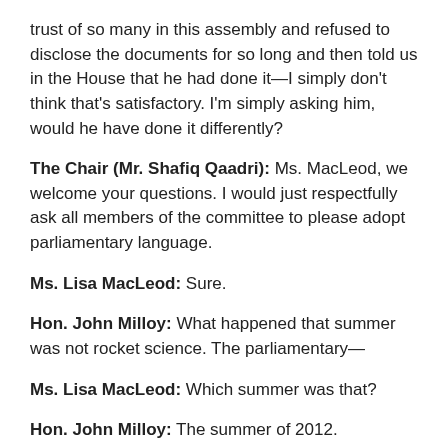trust of so many in this assembly and refused to disclose the documents for so long and then told us in the House that he had done it—I simply don't think that's satisfactory. I'm simply asking him, would he have done it differently?
The Chair (Mr. Shafiq Qaadri): Ms. MacLeod, we welcome your questions. I would just respectfully ask all members of the committee to please adopt parliamentary language.
Ms. Lisa MacLeod: Sure.
Hon. John Milloy: What happened that summer was not rocket science. The parliamentary—
Ms. Lisa MacLeod: Which summer was that?
Hon. John Milloy: The summer of 2012. Parliamentary committees have been dealing with sensitive material for years. You can go back to the parliamentary precedents of the 1800s. The idea of a minister coming to a committee and saying, "Look, we have some documents that are very,